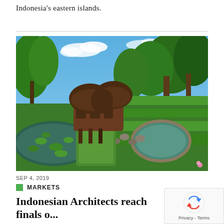Indonesia's eastern islands.
[Figure (photo): Outdoor architectural photo of a unique dome-shaped building surrounded by lush tropical greenery, lily ponds, stepping stones, and terraced hedgerows under a blue sky with scattered clouds.]
SEP 4, 2019
MARKETS
Indonesian Architects reach finals o...